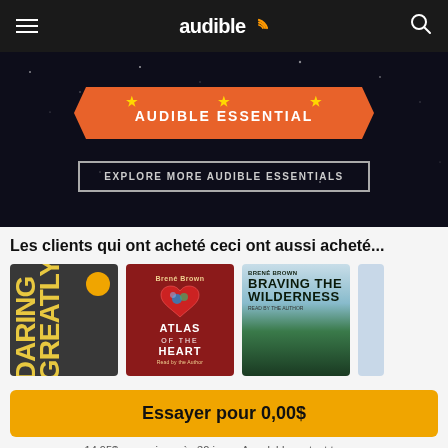audible
[Figure (screenshot): Audible Essential banner on dark starry background with orange ribbon banner and 'EXPLORE MORE AUDIBLE ESSENTIALS' button]
Les clients qui ont acheté ceci ont aussi acheté...
[Figure (illustration): Three audiobook covers: Daring Greatly, Atlas of the Heart by Brené Brown, Braving the Wilderness by Brené Brown]
Essayer pour 0,00$
14,95$ par mois après 30 jours. Annulable en tout temps.